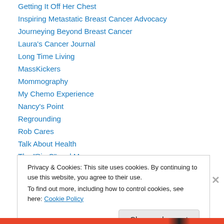Getting It Off Her Chest
Inspiring Metastatic Breast Cancer Advocacy
Journeying Beyond Breast Cancer
Laura's Cancer Journal
Long Time Living
MassKickers
Mommography
My Chemo Experience
Nancy's Point
Regrounding
Rob Cares
Talk About Health
The "Big C" and Me
Privacy & Cookies: This site uses cookies. By continuing to use this website, you agree to their use. To find out more, including how to control cookies, see here: Cookie Policy
Close and accept